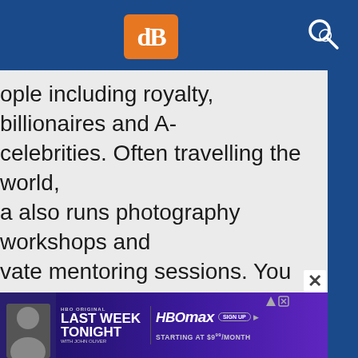[Figure (screenshot): dPS (Digital Photography School) website navigation bar with orange logo and search icon on blue background]
ople including royalty, billionaires and A-celebrities. Often travelling the world, a also runs photography workshops and vate mentoring sessions. You can sign up her free ebook on “Portrait and Post oduction Essentials” and see more of her rk here. Check out her podcast “So you nt to be a photographer” on iTunes.
I need help
[Figure (screenshot): HBO advertisement banner: Last Week Tonight with John Oliver, HBOmax Sign Up Starting at $9 per month]